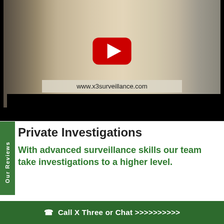[Figure (screenshot): Video thumbnail showing a man in a suit in an office hallway with a YouTube play button overlay and URL www.x3surveillance.com displayed at the bottom]
Private Investigations
With advanced surveillance skills our team take investigations to a higher level.
☎ Call X Three or Chat >>>>>>>>>>